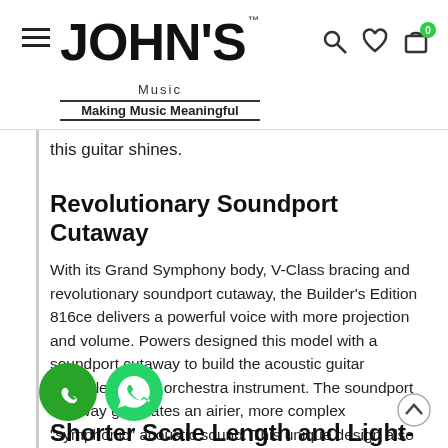John's Music — Making Music Meaningful
this guitar shines.
Revolutionary Soundport Cutaway
With its Grand Symphony body, V-Class bracing and revolutionary soundport cutaway, the Builder's Edition 816ce delivers a powerful voice with more projection and volume. Powers designed this model with a soundport cutaway to build the acoustic guitar equivalent of an orchestra instrument. The soundport cutaway generates an airier, more complex "symphonic" acoustic sound. This unique design also enhances the sustain of each note, helping players' sound extend across a longer period of time. In tandem with the V-Class bracing, the soundport's sloped position produces a rich, high-fidelity voice with a unique acoustic dispersion
[Figure (logo): Phone icon and WhatsApp icon (green circle icons)]
Shorter Scale Length and Light-